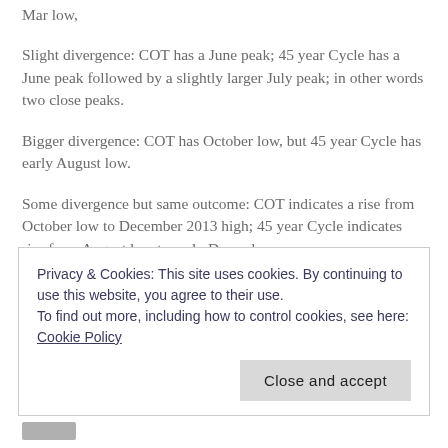Mar low,
Slight divergence: COT has a June peak; 45 year Cycle has a June peak followed by a slightly larger July peak; in other words two close peaks.
Bigger divergence: COT has October low, but 45 year Cycle has early August low.
Some divergence but same outcome: COT indicates a rise from October low to December 2013 high; 45 year Cycle indicates rise from August low to early December
Privacy & Cookies: This site uses cookies. By continuing to use this website, you agree to their use.
To find out more, including how to control cookies, see here: Cookie Policy